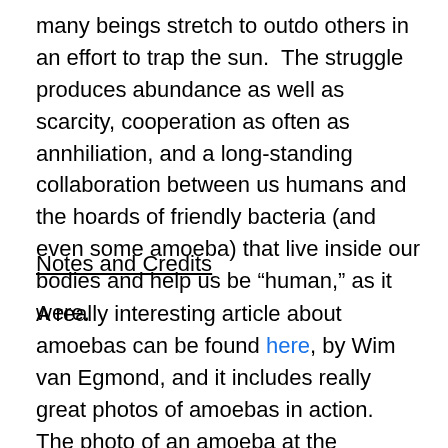many beings stretch to outdo others in an effort to trap the sun.  The struggle produces abundance as well as scarcity, cooperation as often as annhiliation, and a long-standing collaboration between us humans and the hoards of friendly bacteria (and even some amoeba) that live inside our bodies and help us be “human,” as it were.
Notes and Credits
A really interesting article about amoebas can be found here, by Wim van Egmond, and it includes really great photos of amoebas in action.  The photo of an amoeba at the beginning of this posting is taken from the site, Helpful Health Tips, which discusses the causes and treatments for amoebic dysentery.  More detail on the different kinds of amoebas can be found in this piece on Innvista. Getting past dysentery meant mountains of Flagyl and a